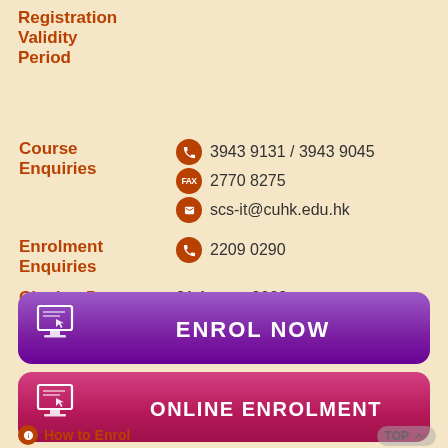Registration Validity Period
| Field | Value |
| --- | --- |
| Course Enquiries | 3943 9131 / 3943 9045
2770 8275
scs-it@cuhk.edu.hk |
| Enrolment Enquiries | 2209 0290 |
| Closing Date for Application | 31 August 2022 |
[Figure (infographic): Purple button with computer icon labeled ENROL NOW]
[Figure (infographic): Pink/red button with computer icon labeled ONLINE ENROLMENT]
How to Enrol